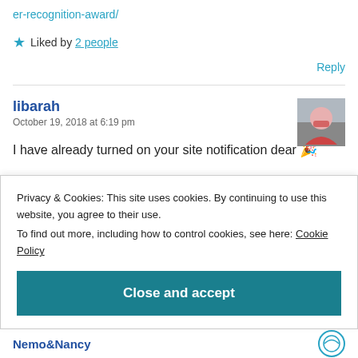er-recognition-award/
★ Liked by 2 people
Reply
libarah
October 19, 2018 at 6:19 pm
I have already turned on your site notification dear 🎉
Privacy & Cookies: This site uses cookies. By continuing to use this website, you agree to their use.
To find out more, including how to control cookies, see here: Cookie Policy
Close and accept
Nemo&Nancy